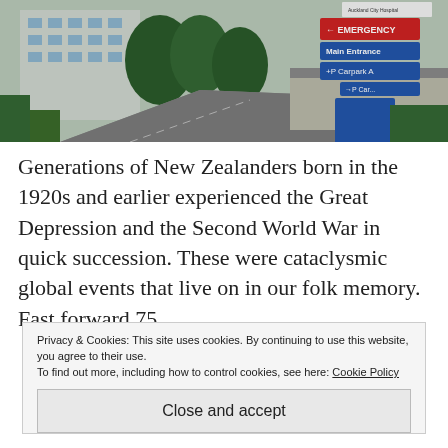[Figure (photo): Exterior photo of Auckland City Hospital showing the hospital building with trees, road signs for Emergency, Main Entrance, Carpark A, and hospital signage.]
Generations of New Zealanders born in the 1920s and earlier experienced the Great Depression and the Second World War in quick succession. These were cataclysmic global events that live on in our folk memory. Fast forward 75 y... t... C...
Privacy & Cookies: This site uses cookies. By continuing to use this website, you agree to their use.
To find out more, including how to control cookies, see here: Cookie Policy
Close and accept